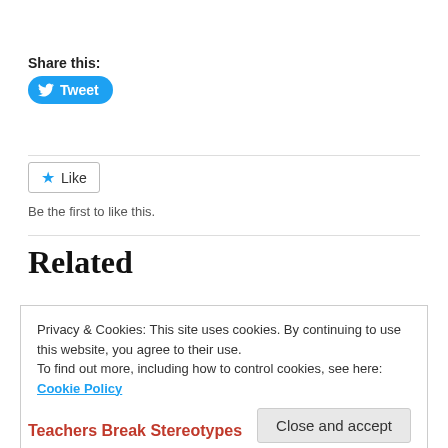Share this:
Tweet
Like
Be the first to like this.
Related
Privacy & Cookies: This site uses cookies. By continuing to use this website, you agree to their use.
To find out more, including how to control cookies, see here:
Cookie Policy
Close and accept
Teachers Break Stereotypes